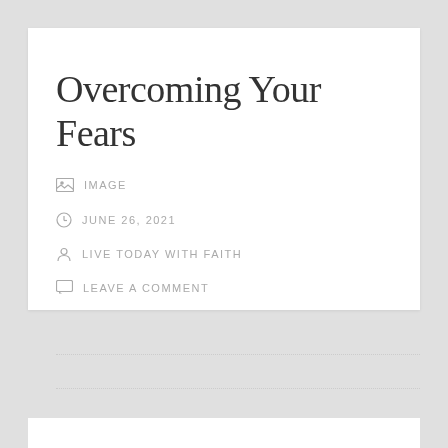Overcoming Your Fears
IMAGE
JUNE 26, 2021
LIVE TODAY WITH FAITH
LEAVE A COMMENT